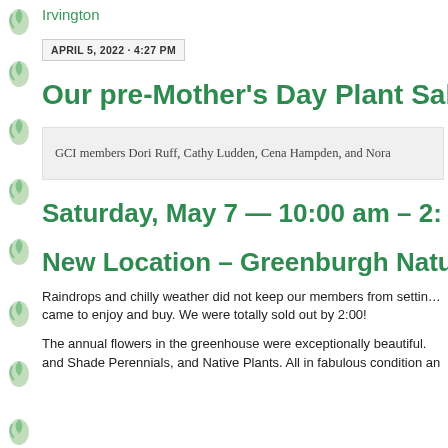Irvington
APRIL 5, 2022 · 4:27 PM
Our pre-Mother's Day Plant Sale &
GCI members Dori Ruff, Cathy Ludden, Cena Hampden, and Nora
Saturday, May 7 — 10:00 am – 2:
New Location – Greenburgh Natur
Raindrops and chilly weather did not keep our members from settin… came to enjoy and buy. We were totally sold out by 2:00!
The annual flowers in the greenhouse were exceptionally beautiful. and Shade Perennials, and Native Plants. All in fabulous condition an